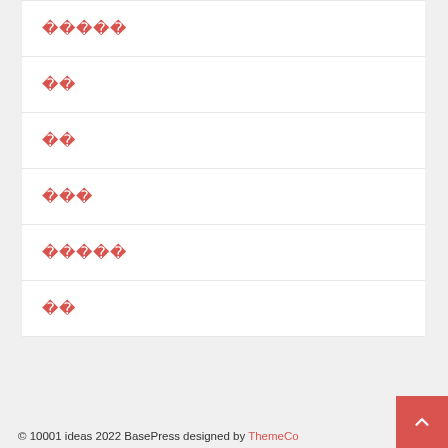□□□□□
□□
□□
□□□
□□□□□
□□
© 10001 ideas 2022 BasePress designed by ThemeCo